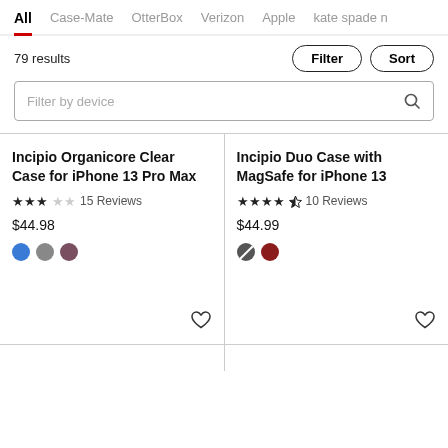All  Case-Mate  OtterBox  Verizon  Apple  kate spade n
79 results
Filter  Sort
Filter by device
Incipio Organicore Clear Case for iPhone 13 Pro Max
★★★☆☆ 15 Reviews
$44.98
Incipio Duo Case with MagSafe for iPhone 13
★★★★½ 10 Reviews
$44.99